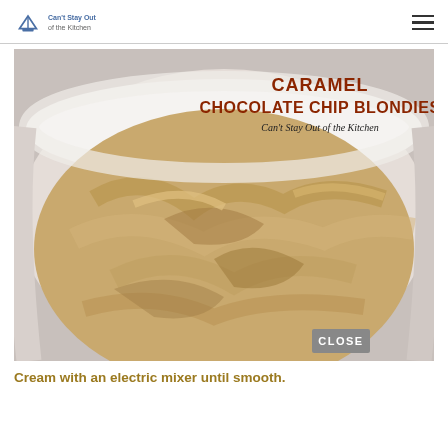Can't Stay Out of the Kitchen
[Figure (photo): Close-up of creamy beige/tan cookie dough in a white mixing bowl, with text overlay reading 'CARAMEL CHOCOLATE CHIP BLONDIES - Can't Stay Out of the Kitchen'. A gray 'CLOSE' button in the bottom right corner.]
Cream with an electric mixer until smooth.